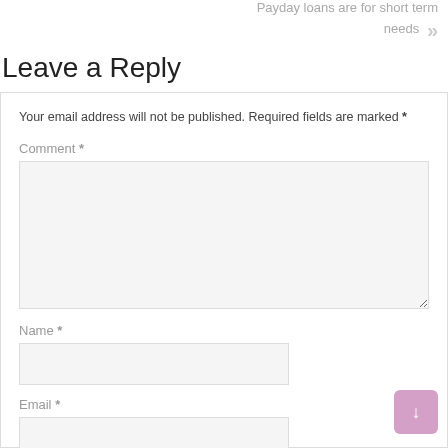Payday loans are for short term needs
Leave a Reply
Your email address will not be published. Required fields are marked *
Comment *
Name *
Email *
Website